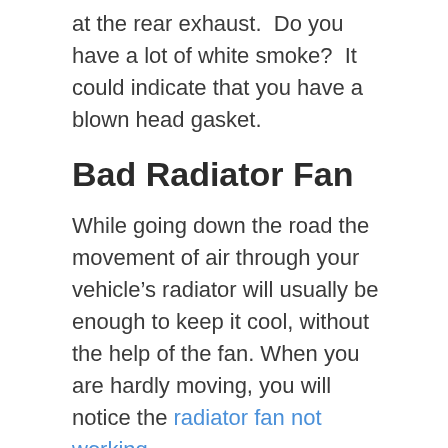at the rear exhaust.  Do you have a lot of white smoke?  It could indicate that you have a blown head gasket.
Bad Radiator Fan
While going down the road the movement of air through your vehicle’s radiator will usually be enough to keep it cool, without the help of the fan. When you are hardly moving, you will notice the radiator fan not working.
If you have a temperature gauge, you’ll notice that the temp will usually cool down when you get onto the highway and get moving into clean air.  When the cooling